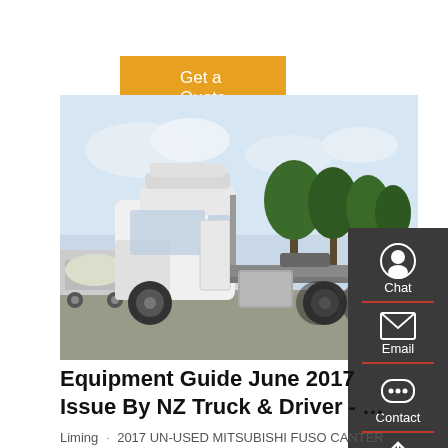Get a Quote
[Figure (photo): Side view of a white heavy-duty semi truck / tractor unit parked in a yard, with trees and a tank vehicle visible in the background. Gray sky.]
Equipment Guide June 2017 Issue By NZ Truck & Driver - …
Liming · 2017 UN-USED MITSUBISHI FUSO CANTER